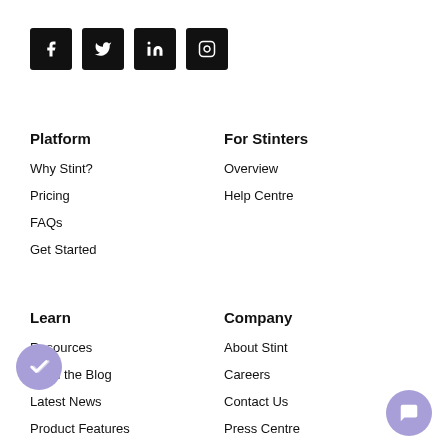[Figure (other): Social media icons row: Facebook, Twitter, LinkedIn, Instagram — white icons on black square backgrounds]
Platform
Why Stint?
Pricing
FAQs
Get Started
For Stinters
Overview
Help Centre
Learn
Resources
From the Blog
Latest News
Product Features
Company
About Stint
Careers
Contact Us
Press Centre